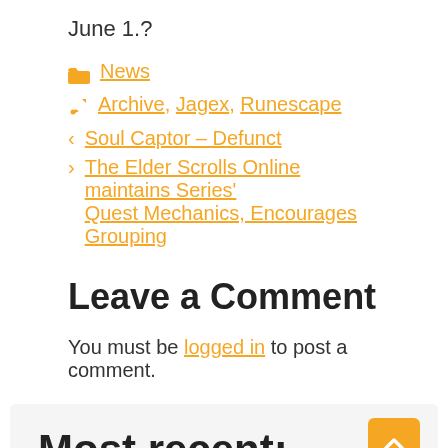June 1.?
📁 News
🏷 Archive, Jagex, Runescape
< Soul Captor – Defunct
> The Elder Scrolls Online maintains Series' Quest Mechanics, Encourages Grouping
Leave a Comment
You must be logged in to post a comment.
Most recent: